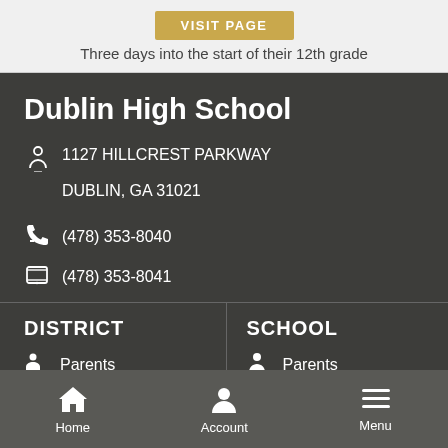VISIT PAGE
Three days into the start of their 12th grade
Dublin High School
1127 HILLCREST PARKWAY
DUBLIN, GA 31021
(478) 353-8040
(478) 353-8041
DISTRICT
Parents
Schools
SCHOOL
Parents
Teachers
Athletics
Home  Account  Menu